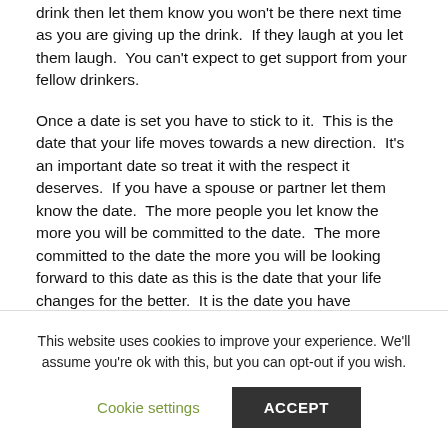drink then let them know you won't be there next time as you are giving up the drink.  If they laugh at you let them laugh.  You can't expect to get support from your fellow drinkers.
Once a date is set you have to stick to it.  This is the date that your life moves towards a new direction.  It's an important date so treat it with the respect it deserves.  If you have a spouse or partner let them know the date.  The more people you let know the more you will be committed to the date.  The more committed to the date the more you will be looking forward to this date as this is the date that your life changes for the better.  It is the date you have promised yourself to live a better life.  You get me?
This website uses cookies to improve your experience. We'll assume you're ok with this, but you can opt-out if you wish.
Cookie settings
ACCEPT